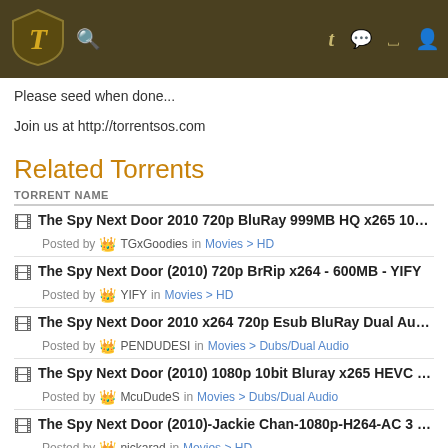TorrentSos header navigation bar
Please seed when done...
Join us at http://torrentsos.com
Related Torrents
| TORRENT NAME |
| --- |
| The Spy Next Door 2010 720p BluRay 999MB HQ x265 10bit-GalaxyR... | Posted by TGxGoodies in Movies > HD |
| The Spy Next Door (2010) 720p BrRip x264 - 600MB - YIFY | Posted by YIFY in Movies > HD |
| The Spy Next Door 2010 x264 720p Esub BluRay Dual Audio English... | Posted by PENDUDESI in Movies > Dubs/Dual Audio |
| The Spy Next Door (2010) 1080p 10bit Bluray x265 HEVC Org DD 5 1... | Posted by McuDudeS in Movies > Dubs/Dual Audio |
| The Spy Next Door (2010)-Jackie Chan-1080p-H264-AC 3 (DolbyDigita... | Posted by nickarad in Movies > HD |